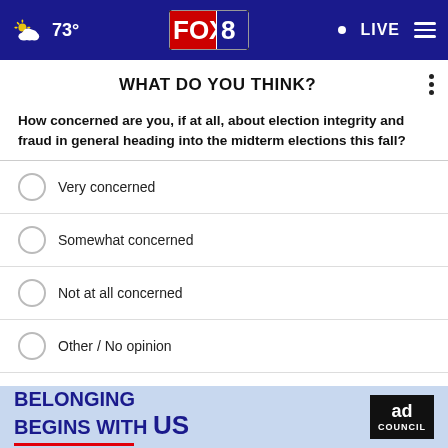73° FOX 8 LIVE
WHAT DO YOU THINK?
How concerned are you, if at all, about election integrity and fraud in general heading into the midterm elections this fall?
Very concerned
Somewhat concerned
Not at all concerned
Other / No opinion
NEXT *
* By clicking "NEXT" you agree to the following: We use cookies to track your survey answers. If you would like to continue with this survey, please read and agree to the CivicScience Privacy Policy and Terms of Service
[Figure (other): Ad Council banner: BELONGING BEGINS WITH US]